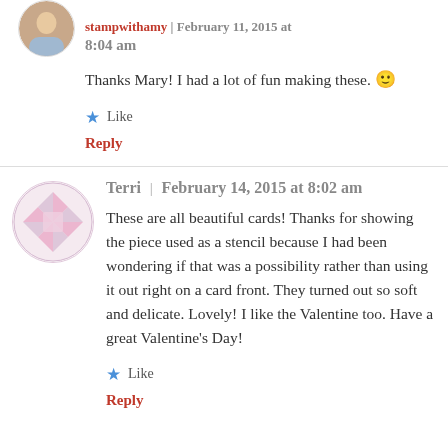stampwithamy | February 11, 2015 at 8:04 am
Thanks Mary! I had a lot of fun making these. 🙂
Like
Reply
Terri | February 14, 2015 at 8:02 am
These are all beautiful cards! Thanks for showing the piece used as a stencil because I had been wondering if that was a possibility rather than using it out right on a card front. They turned out so soft and delicate. Lovely! I like the Valentine too. Have a great Valentine's Day!
Like
Reply